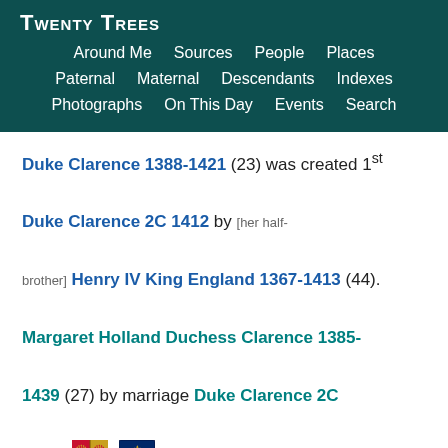Twenty Trees — navigation: Around Me, Sources, People, Places, Paternal, Maternal, Descendants, Indexes, Photographs, On This Day, Events, Search
Duke Clarence 1388-1421 (23) was created 1st Duke Clarence 2C 1412 by [her half-brother] Henry IV King England 1367-1413 (44). Margaret Holland Duchess Clarence 1385-1439 (27) by marriage Duke Clarence 2C 1412. [coat of arms images]